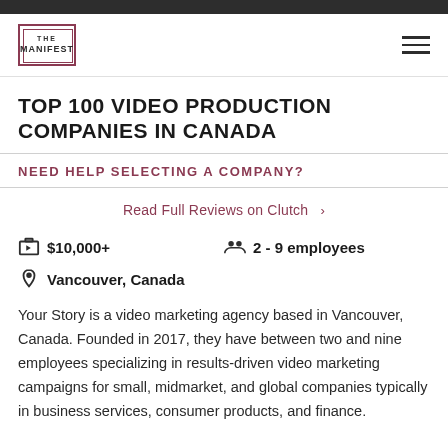THE MANIFEST
TOP 100 VIDEO PRODUCTION COMPANIES IN CANADA
NEED HELP SELECTING A COMPANY?
Read Full Reviews on Clutch >
$10,000+
2 - 9 employees
Vancouver, Canada
Your Story is a video marketing agency based in Vancouver, Canada. Founded in 2017, they have between two and nine employees specializing in results-driven video marketing campaigns for small, midmarket, and global companies typically in business services, consumer products, and finance.